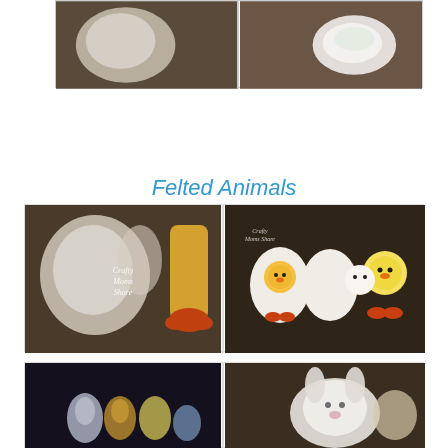[Figure (photo): Two photos side by side at top of page: left photo shows a dark brown background with a white fluffy animal/craft item, right photo shows a white rounded felted craft item on brown background]
Felted Animals
[Figure (photo): Two photos side by side in middle gallery box: left photo shows felted squirrel (white/gray) and felted chick/carrot shape (orange/yellow) with 'Crafty Moms Share' watermark, right photo shows felted chicks hatching from eggs and a yellow chick with 'Crafty Moms Share' watermark]
[Figure (photo): Two photos side by side in bottom gallery box: left photo shows dark background with colorful small felted animals/figures, right photo shows white fluffy felted animal (rabbit or cat) on brown background]